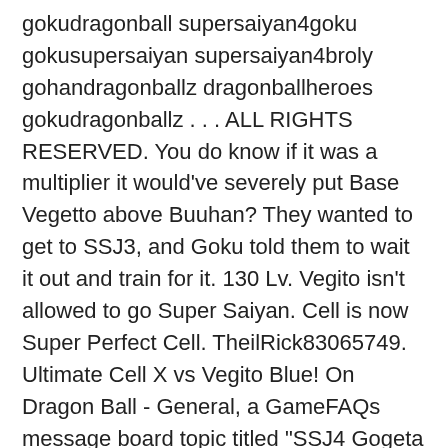gokudragonball supersaiyan4goku gokusupersaiyan supersaiyan4broly gohandragonballz dragonballheroes gokudragonballz . . . ALL RIGHTS RESERVED. You do know if it was a multiplier it would've severely put Base Vegetto above Buuhan? They wanted to get to SSJ3, and Goku told them to wait it out and train for it. 130 Lv. Vegito isn't allowed to go Super Saiyan. Cell is now Super Perfect Cell. TheilRick83065749. Ultimate Cell X vs Vegito Blue! On Dragon Ball - General, a GameFAQs message board topic titled "SSJ4 Gogeta vs. Gogeta Blue vs. Vegito Blue vs. UI Kefla vs. SUSPCell". Perfect Cell wins. - Other than just looks what effects and power did cell inherited form King Cold In Dragon Ball Z. This a Potara fusion between Frieza Saga Goku and Vegeta. Perfect Cell wants a challenge and is coming for Goku and the others. Posted by. your own Pins on Pinterest See, I was with your first comment, and agreed at the time, but after someone brought up that 17 and Perfect Cell's base is...